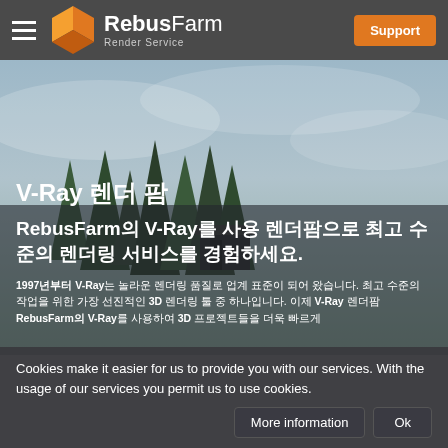RebusFarm Render Service — Support
[Figure (screenshot): Background hero image showing a misty forest scene with a treehouse structure]
V-Ray 렌더 팜
RebusFarm의 V-Ray를 사용 렌더팜으로 최고 수준의 렌더링 서비스를 경험하세요.
1997년부터 V-Ray는 놀라운 렌더링 품질로 업계 표준이 되어 왔습니다. 최고 수준의 3D 렌더링을 위한 가장 선진적인 렌더링 툴 중 하나입니다. 이제 V-Ray 렌더팜 RebusFarm의 V-Ray를 사용하여 3D 프로젝트들을 더욱 빠르게
Cookies make it easier for us to provide you with our services. With the usage of our services you permit us to use cookies.
More information   Ok